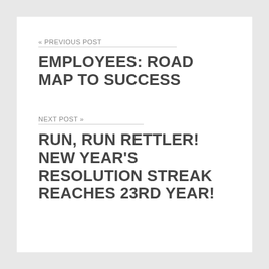« PREVIOUS POST
EMPLOYEES: ROAD MAP TO SUCCESS
NEXT POST »
RUN, RUN RETTLER! NEW YEAR'S RESOLUTION STREAK REACHES 23RD YEAR!